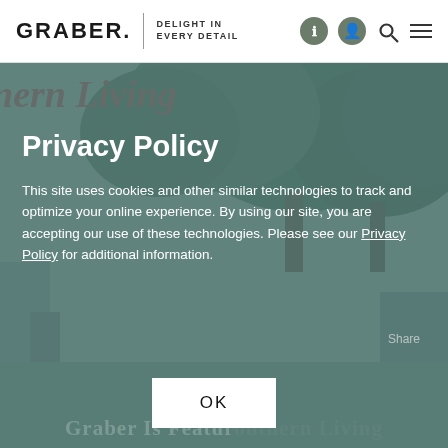GRABER. | DELIGHT IN EVERY DETAIL
[Figure (screenshot): Website screenshot showing Graber brand page with Southern Living feature and privacy policy cookie consent modal overlay. Background shows trees/outdoor photo. Privacy modal with teal overlay contains title 'Privacy Policy', body text about cookie usage, and an OK button.]
Privacy Policy
This site uses cookies and other similar technologies to track and optimize your online experience. By using our site, you are accepting our use of these technologies. Please see our Privacy Policy for additional information.
OK
Graber Is Featured in Southern Living
THE 2020 IDEA HOUSE